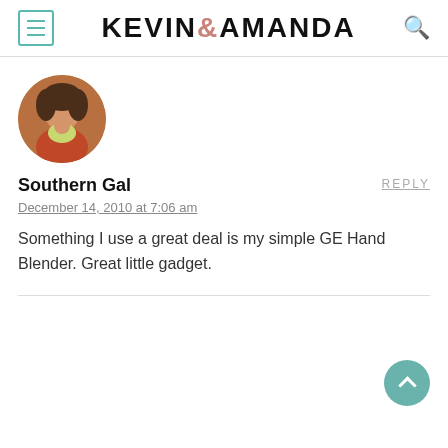KEVIN & AMANDA
[Figure (photo): Circular avatar photo of a woman with curly hair holding a baby]
Southern Gal
REPLY
December 14, 2010 at 7:06 am
Something I use a great deal is my simple GE Hand Blender. Great little gadget.